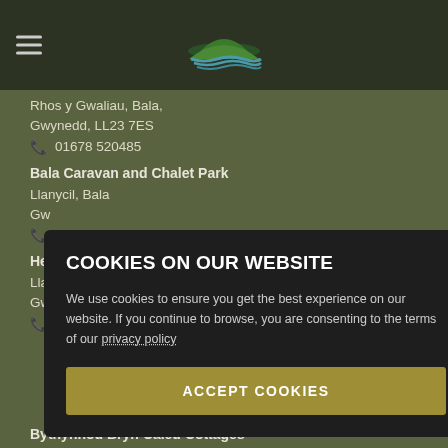Rhos y Gwaliau, Bala,
Gwynedd, LL23 7ES
📞 01678 520485
Bala Caravan and Chalet Park
Llanycil, Bala
Gwynedd, LL23 7YS
📞
H...
Lla...
Gw...
📞
[Figure (screenshot): Cookie consent overlay popup with title 'COOKIES ON OUR WEBSITE', description text about cookie usage and privacy policy link, and an 'ACCEPT COOKIES' button in gold/olive color]
Bythynnod Bryn Caled Cottages